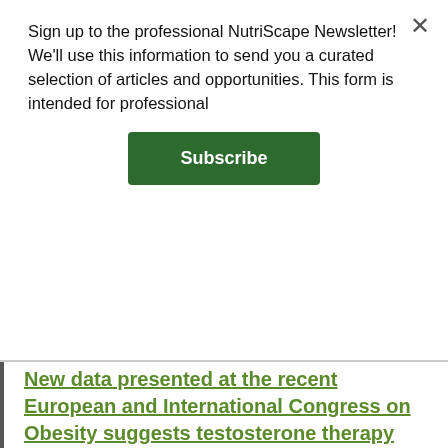Sign up to the professional NutriScape Newsletter! We'll use this information to send you a curated selection of articles and opportunities. This form is intended for professional
[Figure (other): Green Subscribe button]
New data presented at the recent European and International Congress on Obesity suggests testosterone therapy may be a helpful treatment for some men suffering from obesity. The research finds long-term testosterone therapy can, in some cases, be as effective as bariatric surgery in morbidly obese subjects.
Source: New evidence testosterone therapy is effective obesity treatment in men